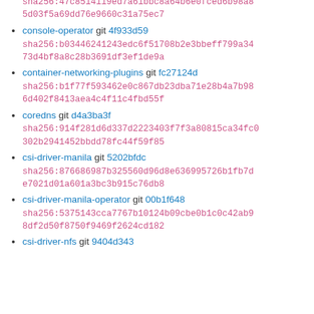console-operator git 4f933d59
sha256:b03446241243edc6f51708b2e3bbeff799a3473d4bf8a8c28b3691df3ef1de9a
container-networking-plugins git fc27124d
sha256:b1f77f593462e0c867db23dba71e28b4a7b986d402f8413aea4c4f11c4fbd55f
coredns git d4a3ba3f
sha256:914f281d6d337d2223403f7f3a80815ca34fc0302b2941452bbdd78fc44f59f85
csi-driver-manila git 5202bfdc
sha256:876686987b325560d96d8e636995726b1fb7de7021d01a601a3bc3b915c76db8
csi-driver-manila-operator git 00b1f648
sha256:5375143cca7767b10124b09cbe0b1c0c42ab98df2d50f8750f9469f2624cd182
csi-driver-nfs git 9404d343